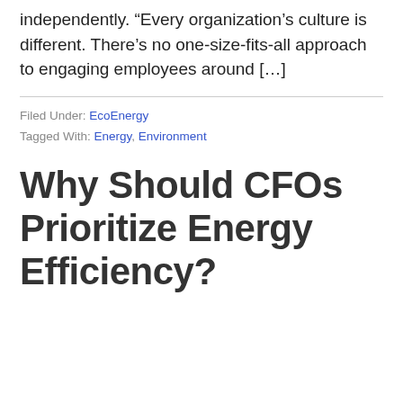independently. “Every organization’s culture is different. There’s no one-size-fits-all approach to engaging employees around […]
Filed Under: EcoEnergy
Tagged With: Energy, Environment
Why Should CFOs Prioritize Energy Efficiency?